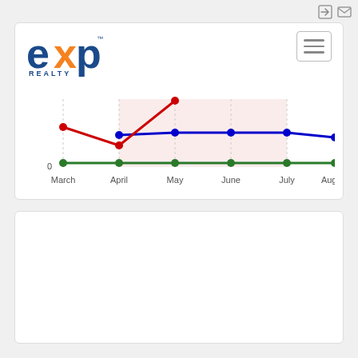[Figure (logo): eXp Realty logo with orange X and blue text]
[Figure (line-chart): Monthly data March through August]